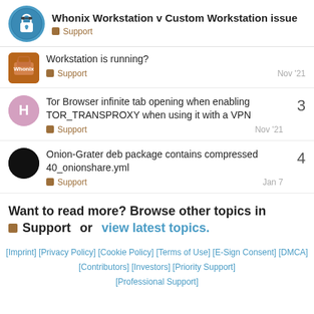Whonix Workstation v Custom Workstation issue — Support
Workstation is running?
Support   Nov '21
Tor Browser infinite tab opening when enabling TOR_TRANSPROXY when using it with a VPN
Support   Nov '21   3 replies
Onion-Grater deb package contains compressed 40_onionshare.yml
Support   Jan 7   4 replies
Want to read more? Browse other topics in Support or view latest topics.
[Imprint] [Privacy Policy] [Cookie Policy] [Terms of Use] [E-Sign Consent] [DMCA] [Contributors] [Investors] [Priority Support] [Professional Support]